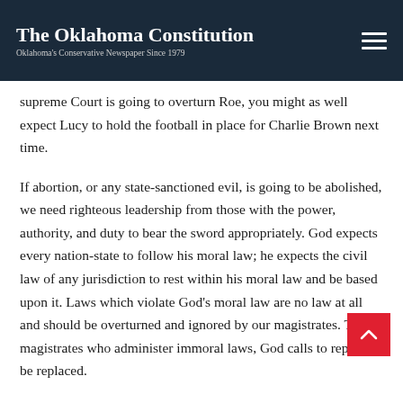The Oklahoma Constitution — Oklahoma's Conservative Newspaper Since 1979
supreme Court is going to overturn Roe, you might as well expect Lucy to hold the football in place for Charlie Brown next time.
If abortion, or any state-sanctioned evil, is going to be abolished, we need righteous leadership from those with the power, authority, and duty to bear the sword appropriately. God expects every nation-state to follow his moral law; he expects the civil law of any jurisdiction to rest within his moral law and be based upon it. Laws which violate God's moral law are no law at all and should be overturned and ignored by our magistrates. Those magistrates who administer immoral laws, God calls to repent or be replaced.
As evidence of this, we see biblical examples of God calling magistrates to repent and acting against those of Israel. God sent M...